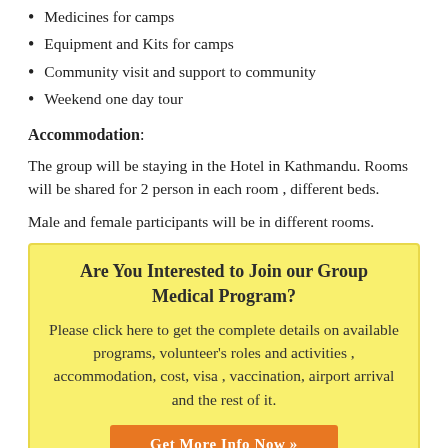Medicines for camps
Equipment and Kits for camps
Community visit and support to community
Weekend one day tour
Accommodation:
The group will be staying in the Hotel in Kathmandu. Rooms will be shared for 2 person in each room , different beds.
Male and female participants will be in different rooms.
Are You Interested to Join our Group Medical Program?
Please click here to get the complete details on available programs, volunteer's roles and activities , accommodation, cost, visa , vaccination, airport arrival and the rest of it.
Get More Info Now »